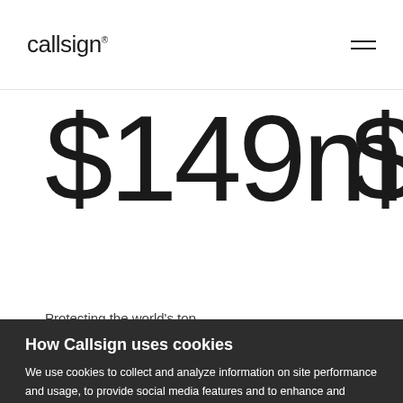callsign
$149m
$1…
How Callsign uses cookies
We use cookies to collect and analyze information on site performance and usage, to provide social media features and to enhance and customise content and advertisements. Learn more
ALLOW ALL COOKIES
Cookie settings